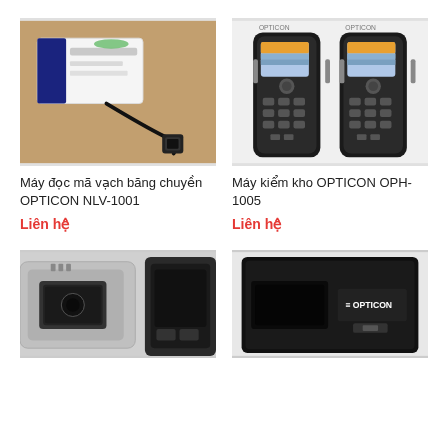[Figure (photo): A barcode scanner device with cable and white box on a wooden table - OPTICON NLV-1001]
Máy đọc mã vạch băng chuyền OPTICON NLV-1001
Liên hệ
[Figure (photo): Two black handheld barcode scanners/inventory devices OPTICON OPH-1005]
Máy kiểm kho OPTICON OPH-1005
Liên hệ
[Figure (photo): Close-up of a silver and black scanner device]
[Figure (photo): Black OPTICON device close-up]